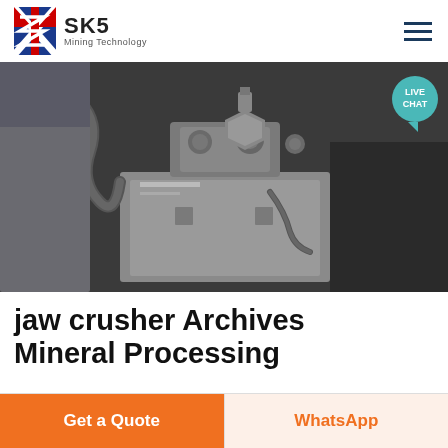SKS Mining Technology
[Figure (photo): Close-up photo of metallic jaw crusher machine parts with hoses and fittings]
jaw crusher Archives Mineral Processing
Consult Corporation s entire C Series Jaw Crushers catalogue 10 Designed to bring your crushing costs down